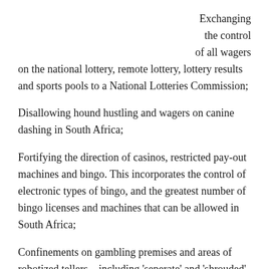Exchanging the control of all wagers on the national lottery, remote lottery, lottery results and sports pools to a National Lotteries Commission;
Disallowing hound hustling and wagers on canine dashing in South Africa;
Fortifying the direction of casinos, restricted pay-out machines and bingo. This incorporates the control of electronic types of bingo, and the greatest number of bingo licenses and machines that can be allowed in South Africa;
Confinements on gambling premises and areas of robotized tellers – including ‘seperate’ and ‘shrouded’ doors for gambling territories situated inside overall population places, for